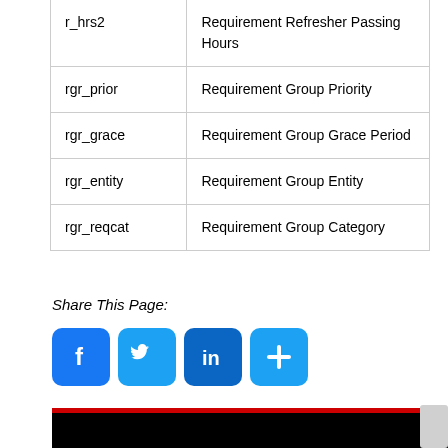| r_hrs2 | Requirement Refresher Passing Hours |
| rgr_prior | Requirement Group Priority |
| rgr_grace | Requirement Group Grace Period |
| rgr_entity | Requirement Group Entity |
| rgr_reqcat | Requirement Group Category |
Share This Page:
[Figure (other): Social media sharing icons: Facebook (blue f), Twitter (blue bird), LinkedIn (blue in), and a blue plus/add button]